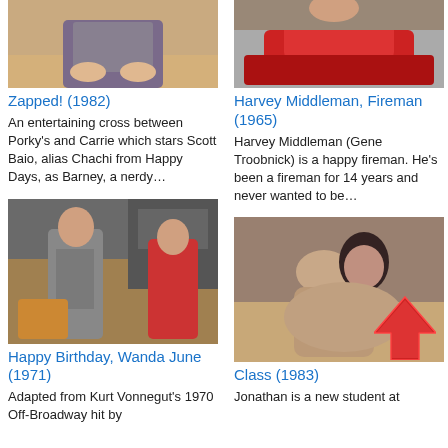[Figure (photo): Partial photo of Zapped! (1982) movie scene, cut off at top]
Zapped! (1982)
An entertaining cross between Porky's and Carrie which stars Scott Baio, alias Chachi from Happy Days, as Barney, a nerdy…
[Figure (photo): Partial photo of Harvey Middleman, Fireman (1965) movie scene, cut off at top, features red object]
Harvey Middleman, Fireman (1965)
Harvey Middleman (Gene Troobnick) is a happy fireman. He's been a fireman for 14 years and never wanted to be…
[Figure (photo): Photo of Happy Birthday, Wanda June (1971) movie scene with two men in suits]
Happy Birthday, Wanda June (1971)
Adapted from Kurt Vonnegut's 1970 Off-Broadway hit by
[Figure (photo): Photo of Class (1983) movie scene with two people]
Class (1983)
Jonathan is a new student at